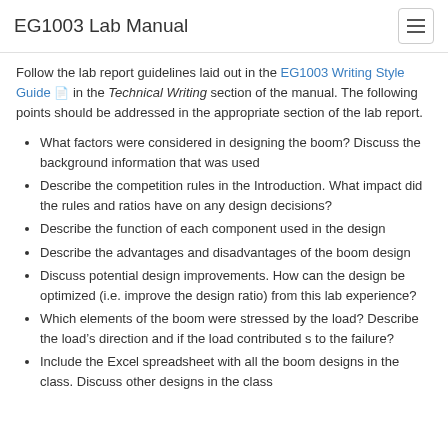EG1003 Lab Manual
Follow the lab report guidelines laid out in the EG1003 Writing Style Guide in the Technical Writing section of the manual. The following points should be addressed in the appropriate section of the lab report.
What factors were considered in designing the boom? Discuss the background information that was used
Describe the competition rules in the Introduction. What impact did the rules and ratios have on any design decisions?
Describe the function of each component used in the design
Describe the advantages and disadvantages of the boom design
Discuss potential design improvements. How can the design be optimized (i.e. improve the design ratio) from this lab experience?
Which elements of the boom were stressed by the load? Describe the load’s direction and if the load contributed s to the failure?
Include the Excel spreadsheet with all the boom designs in the class. Discuss other designs in the class